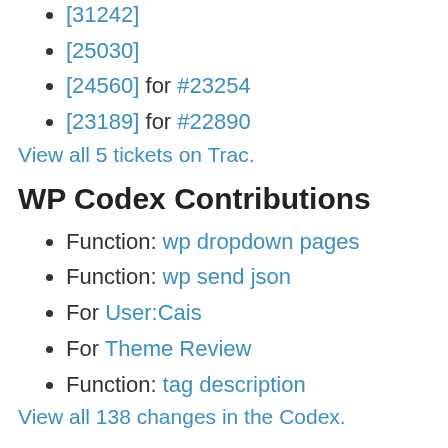[31242]
[25030]
[24560] for #23254
[23189] for #22890
View all 5 tickets on Trac.
WP Codex Contributions
Function: wp dropdown pages
Function: wp send json
For User:Cais
For Theme Review
Function: tag description
View all 138 changes in the Codex.